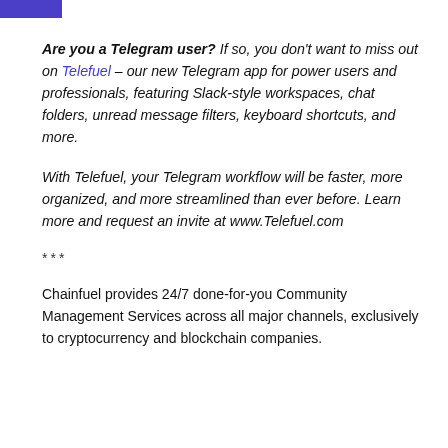Are you a Telegram user? If so, you don't want to miss out on Telefuel - our new Telegram app for power users and professionals, featuring Slack-style workspaces, chat folders, unread message filters, keyboard shortcuts, and more.
With Telefuel, your Telegram workflow will be faster, more organized, and more streamlined than ever before. Learn more and request an invite at www.Telefuel.com
***
Chainfuel provides 24/7 done-for-you Community Management Services across all major channels, exclusively to cryptocurrency and blockchain companies.